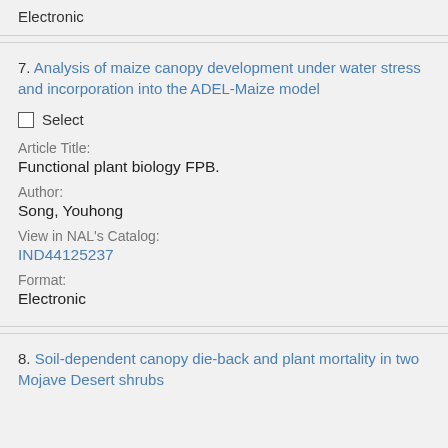Electronic
7. Analysis of maize canopy development under water stress and incorporation into the ADEL-Maize model
Select
Article Title:
Functional plant biology FPB.
Author:
Song, Youhong
View in NAL's Catalog:
IND44125237
Format:
Electronic
8. Soil-dependent canopy die-back and plant mortality in two Mojave Desert shrubs